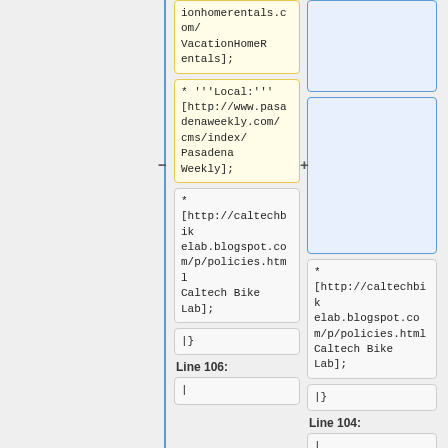ionhomerentals.com/VacationHomeRentals];
* '''Local:''' [http://www.pasadenaweekly.com/cms/index/Pasadena Weekly];
* [http://caltechbikelab.blogspot.com/p/policies.html Caltech Bike Lab];
* [http://caltechbikelab.blogspot.com/p/policies.html Caltech Bike Lab];
|}
|}
Line 106:
Line 104:
|
|